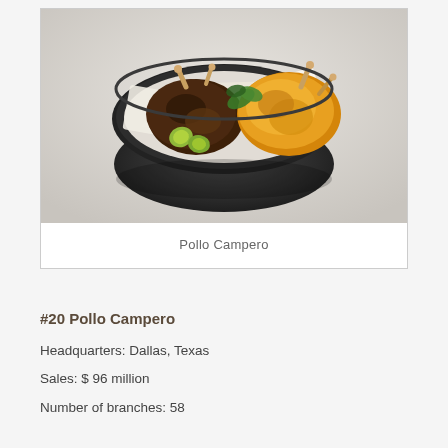[Figure (photo): Photo of Pollo Campero chicken dish served in a dark round basket with parchment paper, showing seasoned roasted chicken pieces and fried pieces, garnished with lime slices and herbs on a light gray background.]
Pollo Campero
#20 Pollo Campero
Headquarters: Dallas, Texas
Sales: $ 96 million
Number of branches: 58